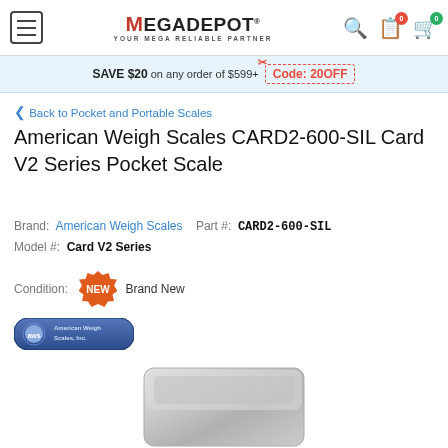[Figure (logo): MegaDepot logo with hamburger menu, search, order list, and cart icons with badge counts 0]
SAVE $20 on any order of $599+  Code: 20OFF
< Back to Pocket and Portable Scales
American Weigh Scales CARD2-600-SIL Card V2 Series Pocket Scale
Brand:  American Weigh Scales  Part #:  CARD2-600-SIL  Model #:  Card V2 Series
Condition:  NEW  Brand New
[Figure (logo): American Weigh Scales brand logo oval blue badge with AWS text]
[Figure (photo): Silver pocket scale device partially visible at bottom of page]